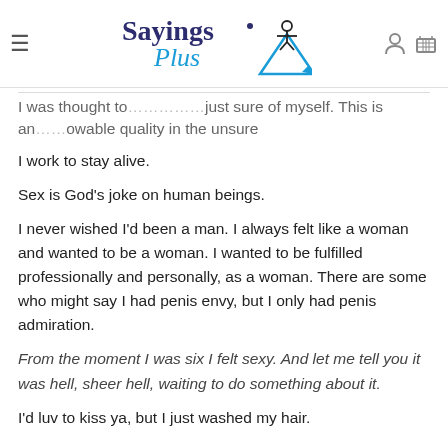Sayings Plus (logo header with navigation icons)
I was thought to… just sure of myself. This is an… owable quality in the unsure
I work to stay alive.
Sex is God's joke on human beings.
I never wished I'd been a man. I always felt like a woman and wanted to be a woman. I wanted to be fulfilled professionally and personally, as a woman. There are some who might say I had penis envy, but I only had penis admiration.
From the moment I was six I felt sexy. And let me tell you it was hell, sheer hell, waiting to do something about it.
I'd luv to kiss ya, but I just washed my hair.
The…